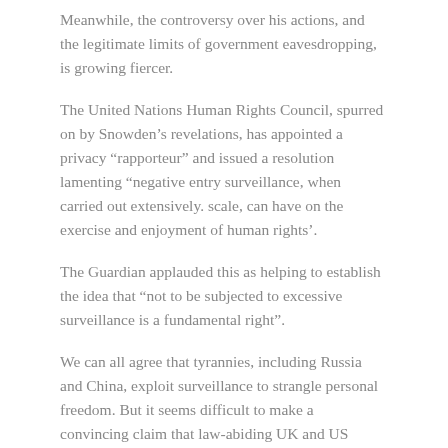Meanwhile, the controversy over his actions, and the legitimate limits of government eavesdropping, is growing fiercer.
The United Nations Human Rights Council, spurred on by Snowden’s revelations, has appointed a privacy “rapporteur” and issued a resolution lamenting “negative entry surveillance, when carried out extensively. scale, can have on the exercise and enjoyment of human rights’.
The Guardian applauded this as helping to establish the idea that “not to be subjected to excessive surveillance is a fundamental right”.
We can all agree that tyrannies, including Russia and China, exploit surveillance to strangle personal freedom. But it seems difficult to make a convincing claim that law-abiding UK and US citizens are suffering at the hands of their own intelligence agencies.